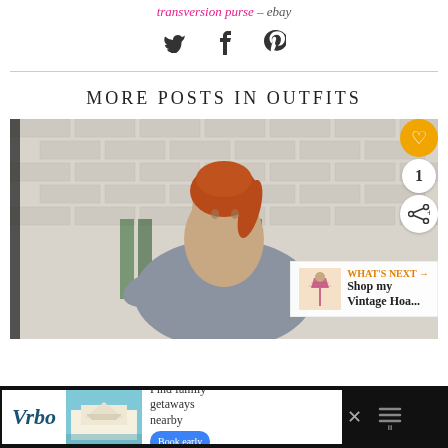transversion purse – ebay
[Figure (other): Social share icons: Twitter bird, Facebook f, Pinterest p]
MORE POSTS IN OUTFITS
[Figure (photo): Woman with red hair wearing a grey top standing in front of a white brick wall with green plants. Overlays include a yellow heart like button, a count of 1, a share button, and a 'WHAT'S NEXT' promo for 'Shop my Vintage Hoa...']
[Figure (other): Advertisement bar at bottom: Vrbo logo, beach house photo, 'Find family getaways nearby', 'Book early' button, close X button, and menu dots icon]